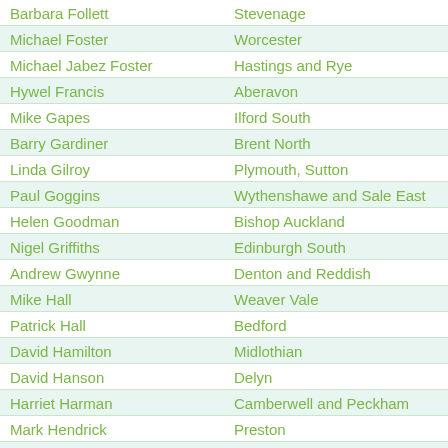| Name | Constituency |
| --- | --- |
| Barbara Follett | Stevenage |
| Michael Foster | Worcester |
| Michael Jabez Foster | Hastings and Rye |
| Hywel Francis | Aberavon |
| Mike Gapes | Ilford South |
| Barry Gardiner | Brent North |
| Linda Gilroy | Plymouth, Sutton |
| Paul Goggins | Wythenshawe and Sale East |
| Helen Goodman | Bishop Auckland |
| Nigel Griffiths | Edinburgh South |
| Andrew Gwynne | Denton and Reddish |
| Mike Hall | Weaver Vale |
| Patrick Hall | Bedford |
| David Hamilton | Midlothian |
| David Hanson | Delyn |
| Harriet Harman | Camberwell and Peckham |
| Mark Hendrick | Preston |
| Stephen Hepburn | Jarrow |